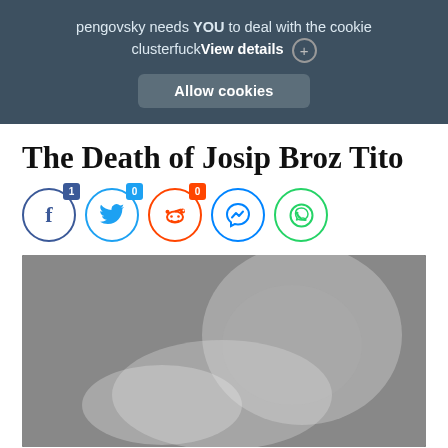pengovsky needs YOU to deal with the cookie clusterfuck View details ⊕
Allow cookies
The Death of Josip Broz Tito
[Figure (infographic): Social sharing icons: Facebook (count: 1), Twitter (count: 0), Reddit (count: 0), Messenger, WhatsApp]
[Figure (photo): Black and white photograph of Josip Broz Tito smoking a pipe, wearing glasses, in profile/three-quarter view with smoke billowing around him.]